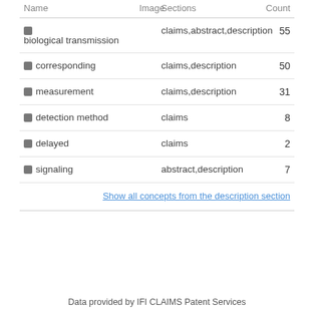| Name | Image | Sections | Count |
| --- | --- | --- | --- |
| biological transmission |  | claims,abstract,description | 55 |
| corresponding |  | claims,description | 50 |
| measurement |  | claims,description | 31 |
| detection method |  | claims | 8 |
| delayed |  | claims | 2 |
| signaling |  | abstract,description | 7 |
| Show all concepts from the description section |  |  |  |
Data provided by IFI CLAIMS Patent Services